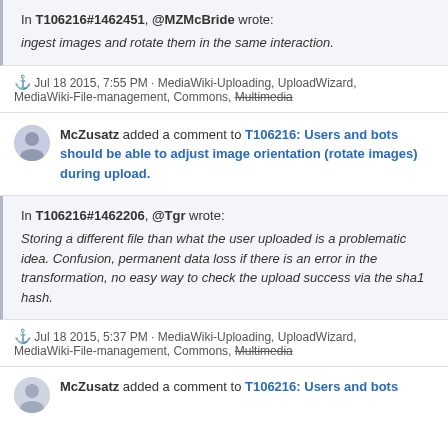In T106216#1462451, @MZMcBride wrote: ingest images and rotate them in the same interaction.
⚓ Jul 18 2015, 7:55 PM · MediaWiki-Uploading, UploadWizard, MediaWiki-File-management, Commons, Multimedia
McZusatz added a comment to T106216: Users and bots should be able to adjust image orientation (rotate images) during upload.
In T106216#1462206, @Tgr wrote: Storing a different file than what the user uploaded is a problematic idea. Confusion, permanent data loss if there is an error in the transformation, no easy way to check the upload success via the sha1 hash.
⚓ Jul 18 2015, 5:37 PM · MediaWiki-Uploading, UploadWizard, MediaWiki-File-management, Commons, Multimedia
McZusatz added a comment to T106216: Users and bots